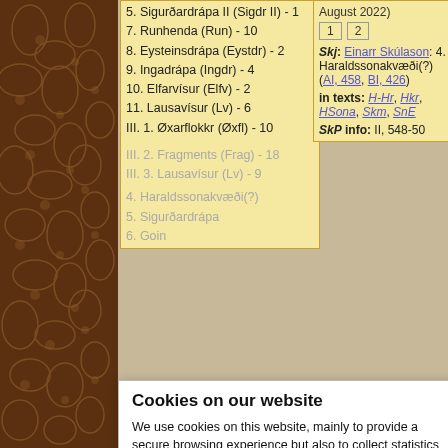5. Sigurðardrápa II (Sigdr II) - 1
7. Runhenda (Run) - 10
8. Eysteinsdrápa (Eystdr) - 2
9. Ingadrápa (Ingdr) - 4
10. Elfarvísur (Elfv) - 2
11. Lausavísur (Lv) - 6
III. 1. Øxarflokkr (Øxfl) - 10
III. 2. Fragments (Frag) - 18
III. 3. Lausavísur (Lv) - 9
August 2022)
1  2
Skj: Einarr Skúlason: 4. Haraldssonakvæði(?) (AI, 458, BI, 426)
in texts: H-Hr, Hkr, HSona, Skm, SnE
SkP info: II, 548-50
Cookies on our website
We use cookies on this website, mainly to provide a secure browsing experience but also to collect statistics on how the website is used. You can find out more about the cookies we set, the information we store and how we use it on the cookies page.
Continue